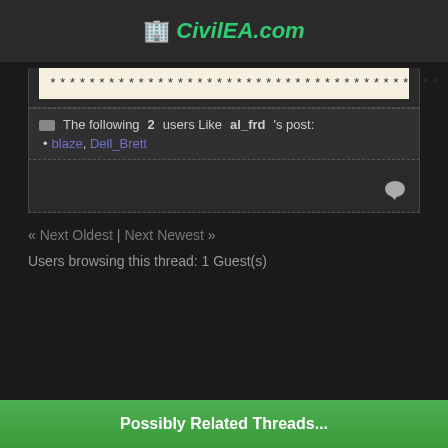CivilEA.com
****************************************
The following 2 users Like al_frd's post:
blaze, Dell_Brett
« Next Oldest | Next Newest »
Users browsing this thread: 1 Guest(s)
Possibly Related Threads...